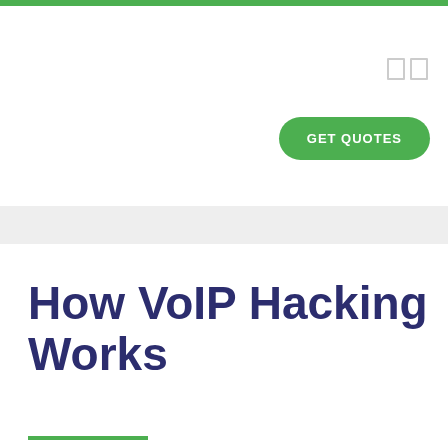[Figure (other): Green top navigation bar with menu icon and GET QUOTES button on a white background]
How VoIP Hacking Works